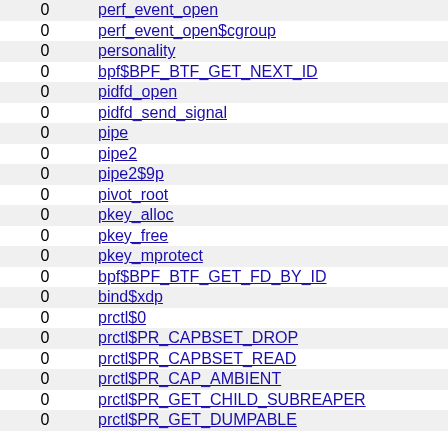|  |  |
| --- | --- |
| 0 | perf_event_open |
| 0 | perf_event_open$cgroup |
| 0 | personality |
| 0 | bpf$BPF_BTF_GET_NEXT_ID |
| 0 | pidfd_open |
| 0 | pidfd_send_signal |
| 0 | pipe |
| 0 | pipe2 |
| 0 | pipe2$9p |
| 0 | pivot_root |
| 0 | pkey_alloc |
| 0 | pkey_free |
| 0 | pkey_mprotect |
| 0 | bpf$BPF_BTF_GET_FD_BY_ID |
| 0 | bind$xdp |
| 0 | prctl$0 |
| 0 | prctl$PR_CAPBSET_DROP |
| 0 | prctl$PR_CAPBSET_READ |
| 0 | prctl$PR_CAP_AMBIENT |
| 0 | prctl$PR_GET_CHILD_SUBREAPER |
| 0 | prctl$PR_GET_DUMPABLE |